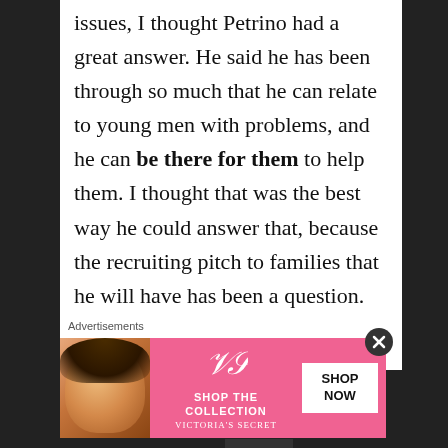issues, I thought Petrino had a great answer. He said he has been through so much that he can relate to young men with problems, and he can be there for them to help them. I thought that was the best way he could answer that, because the recruiting pitch to families that he will have has been a question.

I saw what I wanted to see at the press conference today. I saw Petrino get tears in his eyes and show emotion. I
Advertisements
[Figure (infographic): Victoria's Secret advertisement banner showing a model on the left, VS logo and 'SHOP THE COLLECTION' text in center on pink background, and a white 'SHOP NOW' button on the right.]